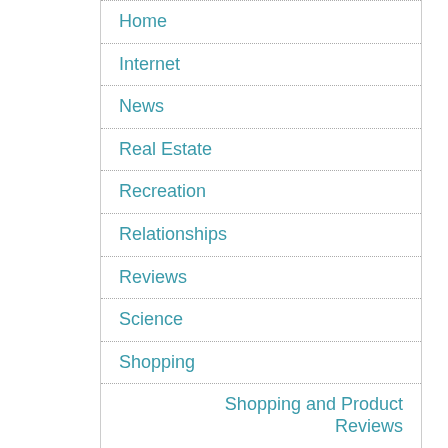Home
Internet
News
Real Estate
Recreation
Relationships
Reviews
Science
Shopping
Shopping and Product Reviews
Society
Tech